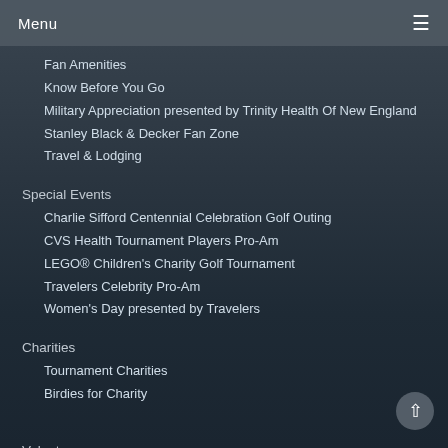Menu
Fan Amenities
Know Before You Go
Military Appreciation presented by Trinity Health Of New England
Stanley Black & Decker Fan Zone
Travel & Lodging
Special Events
Charlie Sifford Centennial Celebration Golf Outing
CVS Health Tournament Players Pro-Am
LEGO® Children's Charity Golf Tournament
Travelers Celebrity Pro-Am
Women's Day presented by Travelers
Charities
Tournament Charities
Birdies for Charity
Volunteers
Volunteer Committees